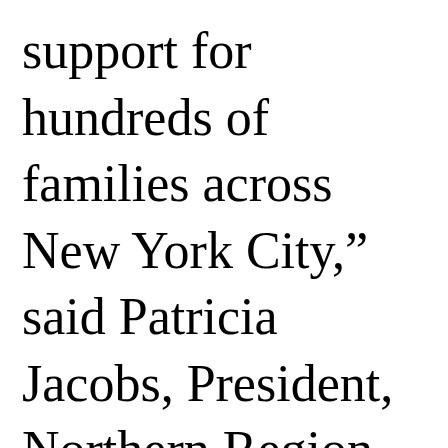support for hundreds of families across New York City,” said Patricia Jacobs, President, Northern Region, AT&T. “We